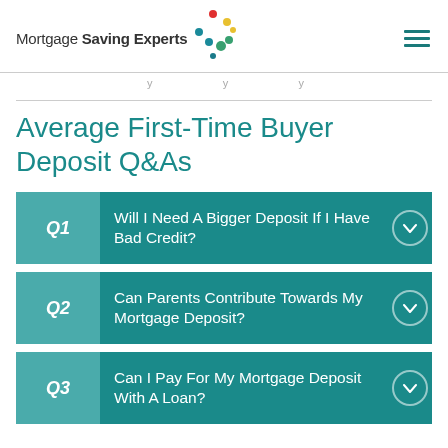Mortgage Saving Experts
Average First-Time Buyer Deposit Q&As
Q1 Will I Need A Bigger Deposit If I Have Bad Credit?
Q2 Can Parents Contribute Towards My Mortgage Deposit?
Q3 Can I Pay For My Mortgage Deposit With A Loan?